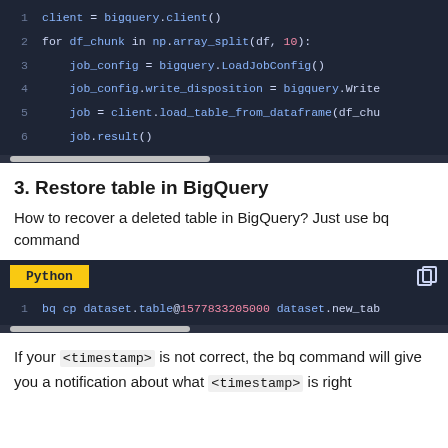[Figure (screenshot): Code block snippet (top, clipped) showing Python code lines 1-6: bigquery client init, for loop with np.array_split, job_config, write_disposition, load_table_from_dataframe, job.result()]
3. Restore table in BigQuery
How to recover a deleted table in BigQuery? Just use bq command
[Figure (screenshot): Python code block showing: 1  bq cp dataset.table@1577833205000 dataset.new_tab]
If your <timestamp> is not correct, the bq command will give you a notification about what <timestamp> is right